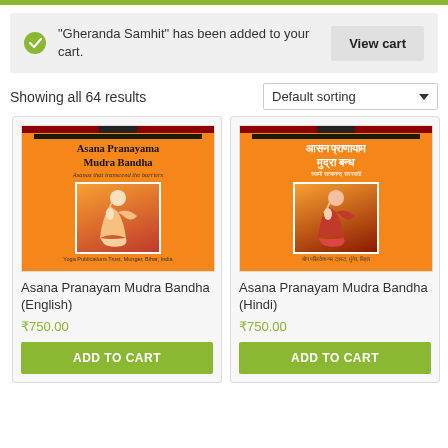"Gheranda Samhit" has been added to your cart.
View cart
Showing all 64 results
Default sorting
[Figure (illustration): Book cover: Asana Pranayama Mudra Bandha (English), orange cover with yoga figure]
Asana Pranayam Mudra Bandha (English)
₹750.00
ADD TO CART
[Figure (illustration): Book cover: Asana Pranayama Mudra Bandha (Hindi), orange cover with yoga figure and Hindi text]
Asana Pranayam Mudra Bandha (Hindi)
₹750.00
ADD TO CART